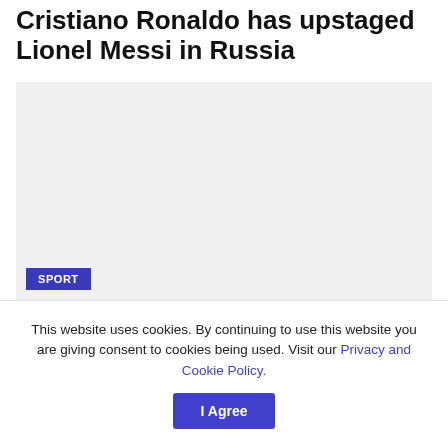Cristiano Ronaldo has upstaged Lionel Messi in Russia
[Figure (photo): Large image placeholder with light grey background, a blue 'SPORT' label tag in the bottom-left corner]
This website uses cookies. By continuing to use this website you are giving consent to cookies being used. Visit our Privacy and Cookie Policy.